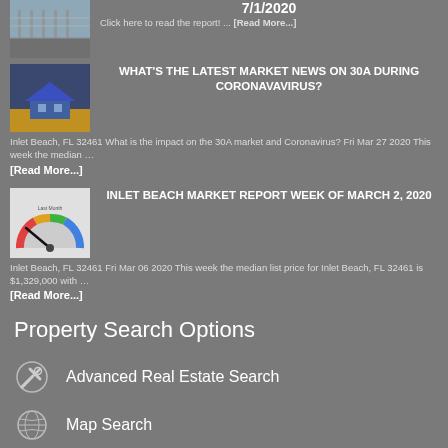7/1/2020 Click here to read the report! ... [Read More...]
WHAT'S THE LATEST MARKET NEWS ON 30A DURING CORONAVAVIRUS?
Inlet Beach, FL 32461 What is the impact on the 30A market and Coronavirus? Fri Mar 27 2020 This week the median ... [Read More...]
INLET BEACH MARKET REPORT WEEK OF MARCH 2, 2020
Inlet Beach, FL 32461 Fri Mar 06 2020 This week the median list price for Inlet Beach, FL 32461 is $1,329,000 with ... [Read More...]
Property Search Options
Advanced Real Estate Search
Map Search
Condos & Townhouses for Sale
30A Homes for Rent